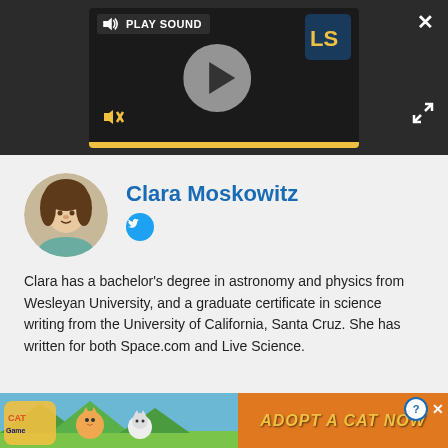[Figure (screenshot): Audio/video media player with dark background, play button, speaker icon, PLAY SOUND label, Live Science logo, mute button, and gold progress bar]
Clara Moskowitz
[Figure (photo): Circular avatar photo of Clara Moskowitz, a woman with curly brown hair wearing a teal top]
[Figure (logo): Twitter bird logo icon in blue circle]
Clara has a bachelor's degree in astronomy and physics from Wesleyan University, and a graduate certificate in science writing from the University of California, Santa Cruz. She has written for both Space.com and Live Science.
[Figure (screenshot): Advertisement banner for Cat Game mobile app showing cartoon cats with orange 'ADOPT A CAT NOW' text and close button]